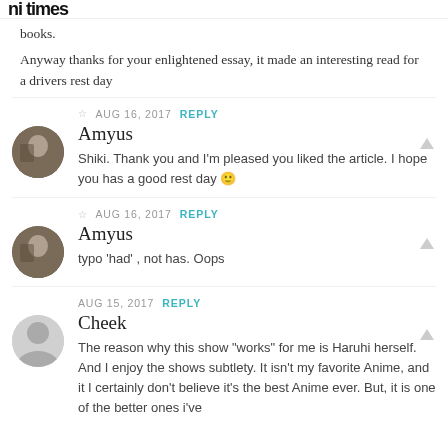ni times
books.

Anyway thanks for your enlightened essay, it made an interesting read for a drivers rest day
☆ AUG 16, 2017 REPLY
Amyus
Shiki. Thank you and I'm pleased you liked the article. I hope you has a good rest day 🙂
☆ AUG 16, 2017 REPLY
Amyus
typo 'had' , not has. Oops
AUG 15, 2017 REPLY
Cheek
The reason why this show "works" for me is Haruhi herself. And I enjoy the shows subtlety. It isn't my favorite Anime, and it I certainly don't believe it's the best Anime ever. But, it is one of the better ones i've